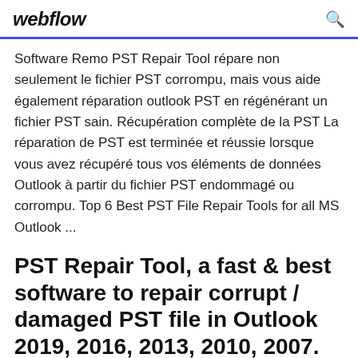webflow
Software Remo PST Repair Tool répare non seulement le fichier PST corrompu, mais vous aide également réparation outlook PST en régénérant un fichier PST sain. Récupération complète de la PST La réparation de PST est terminée et réussie lorsque vous avez récupéré tous vos éléments de données Outlook à partir du fichier PST endommagé ou corrompu. Top 6 Best PST File Repair Tools for all MS Outlook ...
PST Repair Tool, a fast & best software to repair corrupt / damaged PST file in Outlook 2019, 2016, 2013, 2010, 2007.